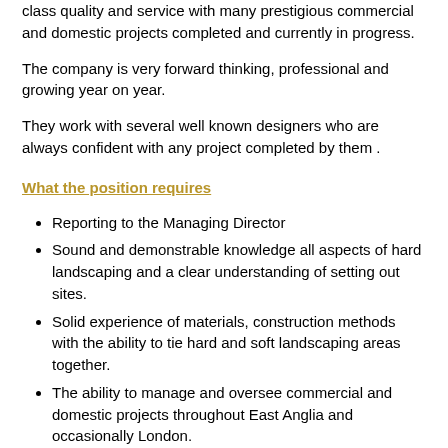class quality and service with many prestigious commercial and domestic projects completed and currently in progress.
The company is very forward thinking, professional and growing year on year.
They work with several well known designers who are always confident with any project completed by them .
What the position requires
Reporting to the Managing Director
Sound and demonstrable knowledge all aspects of hard landscaping and a clear understanding of setting out sites.
Solid experience of materials, construction methods with the ability to tie hard and soft landscaping areas together.
The ability to manage and oversee commercial and domestic projects throughout East Anglia and occasionally London.
Managing staff on site and subcontractors with the aim of achieving maximum efficiency and profitability without any compromise to reputation and high standards of workmanship